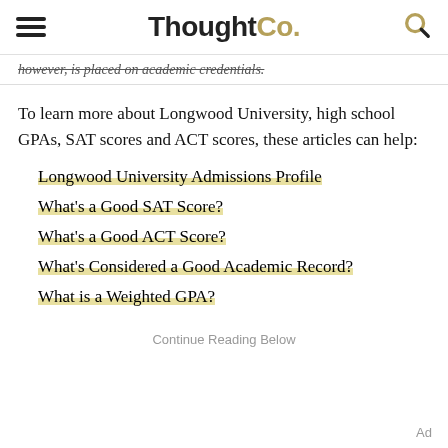ThoughtCo.
however, is placed on academic credentials.
To learn more about Longwood University, high school GPAs, SAT scores and ACT scores, these articles can help:
Longwood University Admissions Profile
What's a Good SAT Score?
What's a Good ACT Score?
What's Considered a Good Academic Record?
What is a Weighted GPA?
Continue Reading Below
Ad